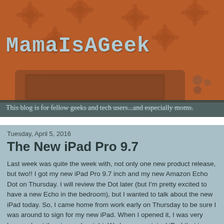MamaIsAGeek
This blog is for fellow geeks and tech users...and especially moms.
[Figure (photo): Old retro television set against an orange floral patterned background, forming the blog header image]
Tuesday, April 5, 2016
The New iPad Pro 9.7
Last week was quite the week with, not only one new product release, but two!! I got my new iPad Pro 9.7 inch and my new Amazon Echo Dot on Thursday. I will review the Dot later (but I'm pretty excited to have a new Echo in the bedroom), but I wanted to talk about the new iPad today. So, I came home from work early on Thursday to be sure I was around to sign for my new iPad. When I opened it, I was very happy about the size and weight. We have an original iPad that is my son's now, but I was familiar with this screen size going in. But what I'm ecstatic about is the weight...it's so freaking light. I had borrowed the larger iPad Pro from